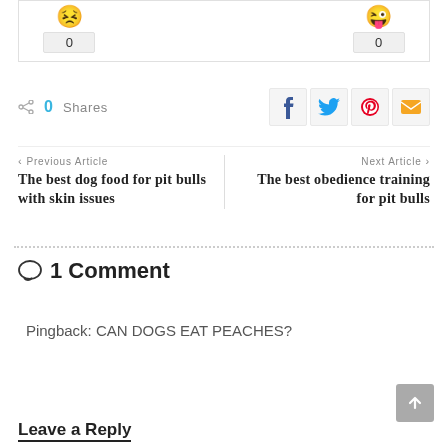[Figure (infographic): Reaction box with two emoji (angry face and tongue-out/winking face), each with a count of 0 below]
0   Shares (with share icon) | Social buttons: Facebook, Twitter, Pinterest, Email
< Previous Article
The best dog food for pit bulls with skin issues
Next Article >
The best obedience training for pit bulls
1 Comment
Pingback: CAN DOGS EAT PEACHES?
Leave a Reply